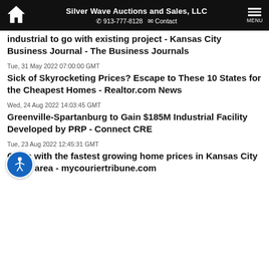Silver Wave Auctions and Sales, LLC | 913-777-8128 | Contact | MENU
industrial to go with existing project - Kansas City Business Journal - The Business Journals
Tue, 31 May 2022 07:00:00 GMT
Sick of Skyrocketing Prices? Escape to These 10 States for the Cheapest Homes - Realtor.com News
Wed, 24 Aug 2022 14:03:45 GMT
Greenville-Spartanburg to Gain $185M Industrial Facility Developed by PRP - Connect CRE
Tue, 23 Aug 2022 12:45:31 GMT
Cities with the fastest growing home prices in Kansas City metro area - mycouriertribune.com